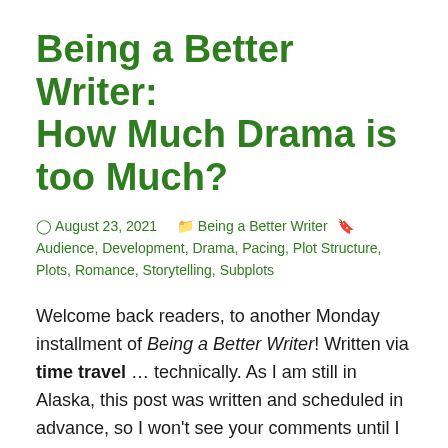Being a Better Writer: How Much Drama is too Much?
August 23, 2021  Being a Better Writer  Audience, Development, Drama, Pacing, Plot Structure, Plots, Romance, Storytelling, Subplots
Welcome back readers, to another Monday installment of Being a Better Writer! Written via time travel … technically. As I am still in Alaska, this post was written and scheduled in advance, so I won't see your comments until I return. That said, thanks to the magic of